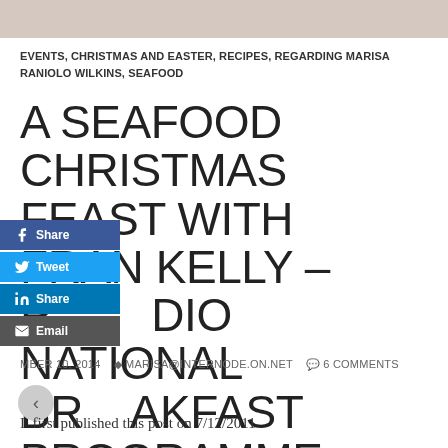[Figure (photo): Top portion of a food/seafood photo, cropped at the top of the page]
EVENTS, CHRISTMAS AND EASTER, RECIPES, REGARDING MARISA RANIOLO WILKINS, SEAFOOD
A SEAFOOD CHRISTMAS FEAST WITH FRAN KELLY – RADIO NATIONAL BREAKFAST PROGRAMME
[Figure (infographic): Social sharing buttons: Facebook Share, Twitter Tweet, LinkedIn Share, Email]
MBER 10, 2014  MARISA@INTERNODE.ON.NET  6 COMMENTS
I  first published this post on 7/12/2011
INTERVIEW ON ABC  RADIO NATIONAL BREAKFAST PROGRAMME with Fran Kelly Dec. 2011
This morning I had the fantastic opportunity of being